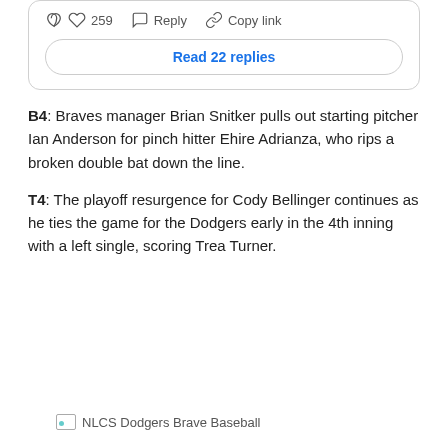259   Reply   Copy link
Read 22 replies
B4: Braves manager Brian Snitker pulls out starting pitcher Ian Anderson for pinch hitter Ehire Adrianza, who rips a broken double bat down the line.
T4: The playoff resurgence for Cody Bellinger continues as he ties the game for the Dodgers early in the 4th inning with a left single, scoring Trea Turner.
[Figure (photo): Thumbnail image placeholder labeled NLCS Dodgers Brave Baseball]